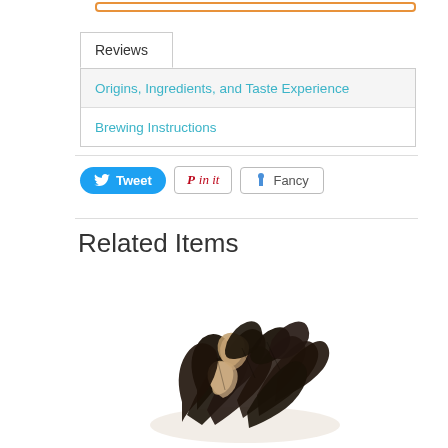Reviews
Origins, Ingredients, and Taste Experience
Brewing Instructions
Tweet  Pin it  Fancy
Related Items
[Figure (photo): A pile of loose leaf black tea with visible dried ingredients like herbs or spices, photographed on a white background.]